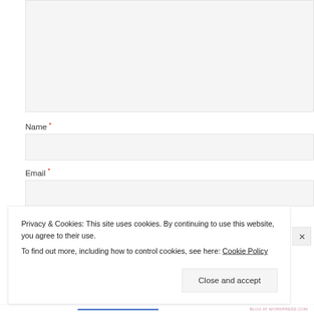[Figure (screenshot): A web form with a large textarea at top, followed by Name and Email input fields with required markers (red asterisk). A cookie consent banner overlays the bottom portion of the page, containing privacy policy text and a 'Close and accept' button.]
Name *
Email *
Privacy & Cookies: This site uses cookies. By continuing to use this website, you agree to their use.
To find out more, including how to control cookies, see here: Cookie Policy
Close and accept